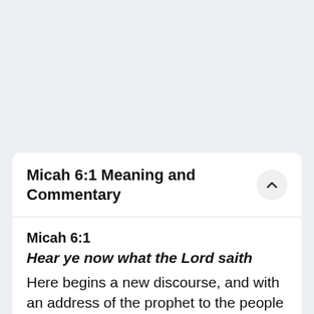Micah 6:1 Meaning and Commentary
Micah 6:1
Hear ye now what the Lord saith
Here begins a new discourse, and with an address of the prophet to the people of Israel, to hear what the Lord had to say to them.